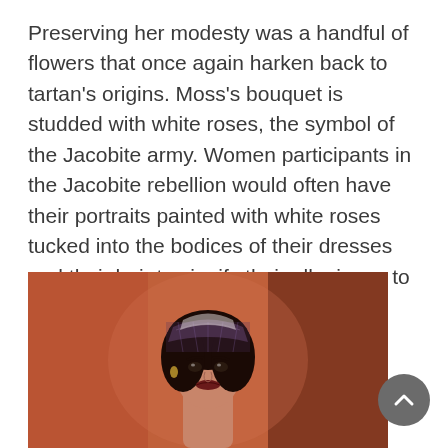Preserving her modesty was a handful of flowers that once again harken back to tartan's origins. Moss's bouquet is studded with white roses, the symbol of the Jacobite army. Women participants in the Jacobite rebellion would often have their portraits painted with white roses tucked into the bodices of their dresses and their hair to signify their allegiance to the cause.
[Figure (photo): A woman with dark hair wearing a tartan veil, looking directly at the camera against a reddish-orange background.]